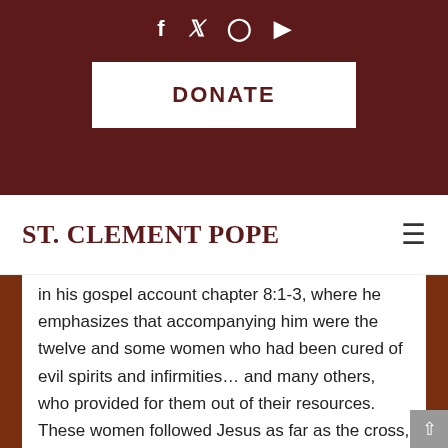[Figure (other): Social media icons (Facebook, Twitter, Instagram, YouTube) on dark maroon background]
[Figure (other): DONATE button (white rectangle on dark maroon background)]
ST. CLEMENT POPE
in his gospel account chapter 8:1-3, where he emphasizes that accompanying him were the twelve and some women who had been cured of evil spirits and infirmities... and many others, who provided for them out of their resources. These women followed Jesus as far as the cross, as models of the ideal disciple. They followed him from Galilee to